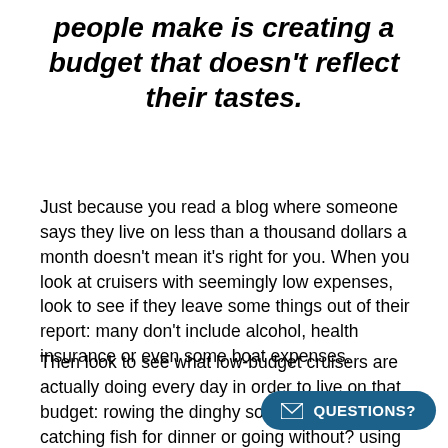people make is creating a budget that doesn't reflect their tastes.
Just because you read a blog where someone says they live on less than a thousand dollars a month doesn't mean it's right for you. When you look at cruisers with seemingly low expenses, look to see if they leave some things out of their report: many don't include alcohol, health insurance or even some boat expenses.
Then look to see what low-budget cruisers are actually doing every day in order to live on that budget: rowing the dinghy so they don't use gas? catching fish for dinner or going without? using 10-y without refrigeration? going engineless until they can afford the parts to repair it?